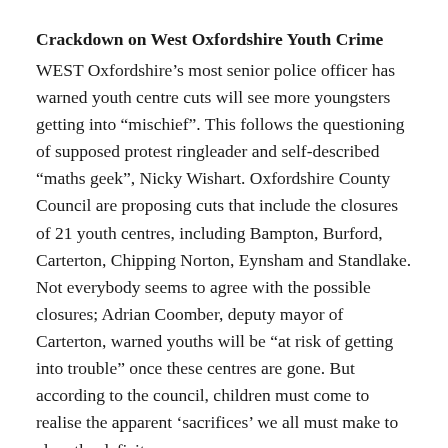Crackdown on West Oxfordshire Youth Crime
WEST Oxfordshire’s most senior police officer has warned youth centre cuts will see more youngsters getting into “mischief”. This follows the questioning of supposed protest ringleader and self-described “maths geek”, Nicky Wishart. Oxfordshire County Council are proposing cuts that include the closures of 21 youth centres, including Bampton, Burford, Carterton, Chipping Norton, Eynsham and Standlake. Not everybody seems to agree with the possible closures; Adrian Coomber, deputy mayor of Carterton, warned youths will be “at risk of getting into trouble” once these centres are gone. But according to the council, children must come to realise the apparent ‘sacrifices’ we all must make to clear the deficit.